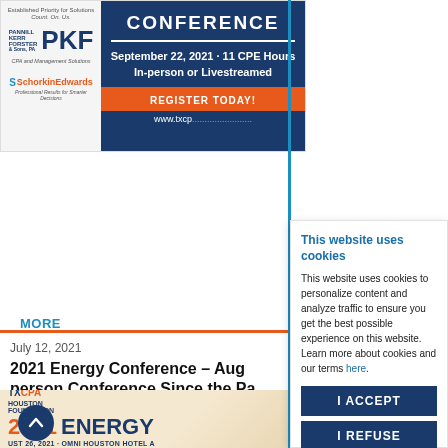[Figure (screenshot): Conference banner ad with PKF and SchohreinEdwards logos on the left and dark blue banner on the right showing CONFERENCE, September 22, 2021 · 11 CPE Hours, In-person or Livestreamed, REGISTER TODAY!, www.txcp...]
MORE INFO
July 12, 2021
2021 Energy Conference – Aug person Conference Since the Pa
[Figure (screenshot): TXCPA Houston Foundation 2021 ENERGY conference image with orange/cream background. UST 26, 2021 · OMNI HOUSTON HOTEL A. Keynote S... Erik Milit...]
[Figure (infographic): Cookie consent overlay: 'This website uses cookies' heading, body text about personalization, and two buttons: I ACCEPT and I REFUSE]